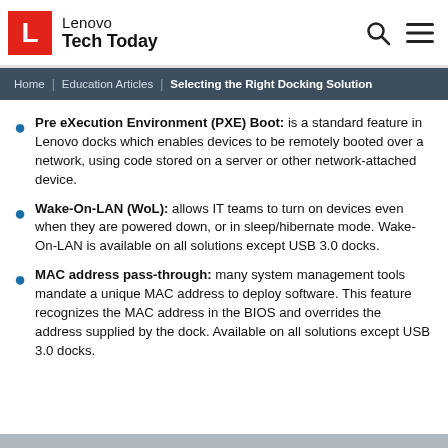Lenovo Tech Today
Home | Education Articles | Selecting the Right Docking Solution
Pre eXecution Environment (PXE) Boot: is a standard feature in Lenovo docks which enables devices to be remotely booted over a network, using code stored on a server or other network-attached device.
Wake-On-LAN (WoL): allows IT teams to turn on devices even when they are powered down, or in sleep/hibernate mode. Wake-On-LAN is available on all solutions except USB 3.0 docks.
MAC address pass-through: many system management tools mandate a unique MAC address to deploy software. This feature recognizes the MAC address in the BIOS and overrides the address supplied by the dock. Available on all solutions except USB 3.0 docks.